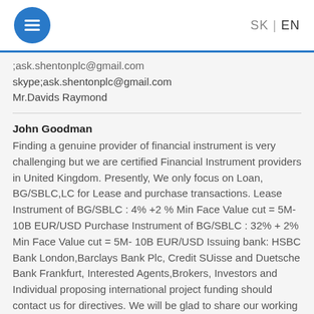SK | EN
;ask.shentonplc@gmail.com
skype;ask.shentonplc@gmail.com
Mr.Davids Raymond
John Goodman
Finding a genuine provider of financial instrument is very challenging but we are certified Financial Instrument providers in United Kingdom. Presently, We only focus on Loan, BG/SBLC,LC for Lease and purchase transactions. Lease Instrument of BG/SBLC : 4% +2 % Min Face Value cut = 5M- 10B EUR/USD Purchase Instrument of BG/SBLC : 32% + 2% Min Face Value cut = 5M- 10B EUR/USD Issuing bank: HSBC Bank London,Barclays Bank Plc, Credit SUisse and Duetsche Bank Frankfurt, Interested Agents,Brokers, Investors and Individual proposing international project funding should contact us for directives. We will be glad to share our working